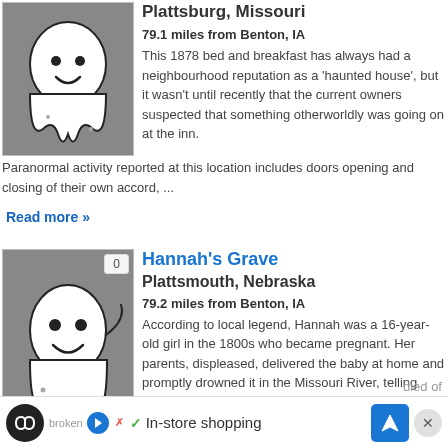[Figure (illustration): Ghost illustration on grey background, top listing]
Plattsburg, Missouri
79.1 miles from Benton, IA
This 1878 bed and breakfast has always had a neighbourhood reputation as a 'haunted house', but it wasn't until recently that the current owners suspected that something otherworldly was going on at the inn.
Paranormal activity reported at this location includes doors opening and closing of their own accord, ...
Read more »
[Figure (illustration): Ghost illustration on grey background, second listing, with badge showing 0]
Hannah's Grave
Plattsmouth, Nebraska
79.2 miles from Benton, IA
According to local legend, Hannah was a 16-year-old girl in the 1800s who became pregnant. Her parents, displeased, delivered the baby at home and promptly drowned it in the Missouri River, telling Hannah the baby
died of
broken ✓ In-store shopping
[Figure (other): Advertisement bar with logo, checkmark, In-store shopping text, navigation icon, and close button]